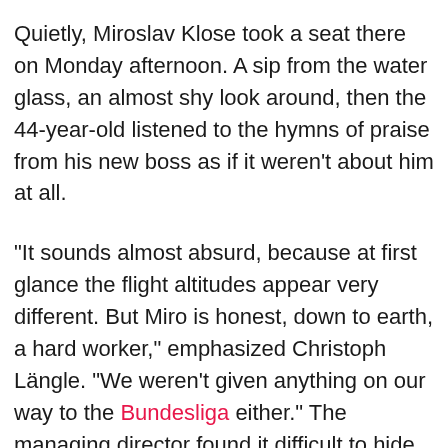Quietly, Miroslav Klose took a seat there on Monday afternoon. A sip from the water glass, an almost shy look around, then the 44-year-old listened to the hymns of praise from his new boss as if it weren't about him at all.
“It sounds almost absurd, because at first glance the flight altitudes appear very different. But Miro is honest, down to earth, a hard worker,” emphasized Christoph Längle. “We weren’t given anything on our way to the Bundesliga either.” The managing director found it difficult to hide his pride in the brilliant personnel at the village club. But they will not build castles in the air “just